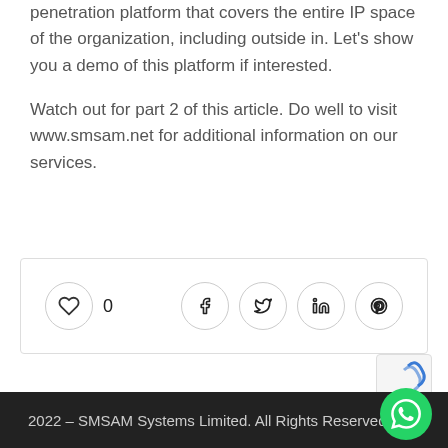penetration platform that covers the entire IP space of the organization, including outside in. Let's show you a demo of this platform if interested.
Watch out for part 2 of this article. Do well to visit www.smsam.net for additional information on our services.
[Figure (other): Social interaction bar with like button (heart icon) showing count 0, and share buttons for Facebook, Twitter, LinkedIn, and Pinterest]
2022 – SMSAM Systems Limited. All Rights Reserved.